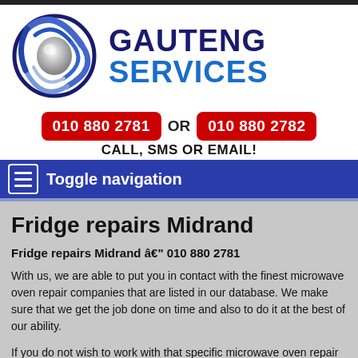[Figure (logo): Gauteng Services logo with blue swirl and silver sphere icon, and text GAUTENG SERVICES]
010 880 2781 OR 010 880 2782
CALL, SMS OR EMAIL!
Toggle navigation
Fridge repairs Midrand
Fridge repairs Midrand â€" 010 880 2781
With us, we are able to put you in contact with the finest microwave oven repair companies that are listed in our database. We make sure that we get the job done on time and also to do it at the best of our ability.
If you do not wish to work with that specific microwave oven repair company we will gladly arrange a new one for you. We make sure we